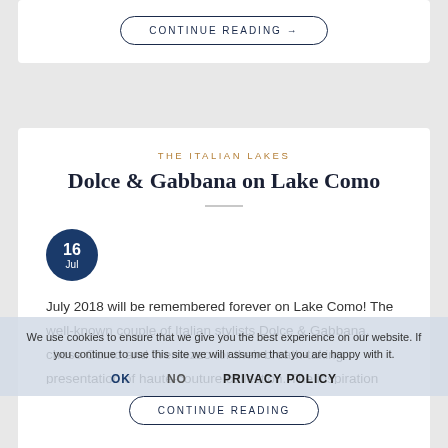CONTINUE READING →
THE ITALIAN LAKES
Dolce & Gabbana on Lake Como
16 Jul
July 2018 will be remembered forever on Lake Como! The well-known couple of Italian stylists Dolce & Gabbana, chose Como and Tremezzo for their breath-taking presentation of haute-couture collection. The inspiration behind Dolce & Gabbana's latest collection was The Betrothed (I Promessi Sposi), XIX-century novel by Alessandro Manzoni, considered to have established the foundations of [...]
We use cookies to ensure that we give you the best experience on our website. If you continue to use this site we will assume that you are happy with it.
OK   NO   PRIVACY POLICY